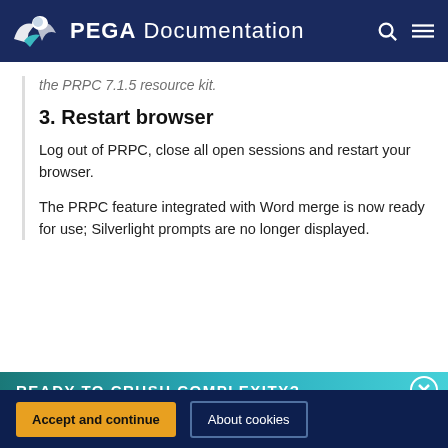PEGA Documentation
the PRPC 7.1.5 resource kit.
3. Restart browser
Log out of PRPC, close all open sessions and restart your browser.
The PRPC feature integrated with Word merge is now ready for use; Silverlight prompts are no longer displayed.
READY TO CRUSH COMPLEXITY?
By using this site, you agree to the use of cookies. Read our Privacy Policy
Accept and continue
About cookies